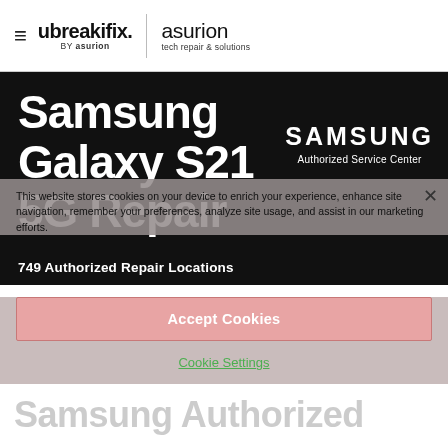ubreakifix. by asurion | asurion tech repair & solutions
Samsung Galaxy S21 5G Repair
[Figure (logo): SAMSUNG Authorized Service Center badge in white text on black background]
749 Authorized Repair Locations
This website stores cookies on your device to enrich your experience, enhance site navigation, remember your preferences, analyze site usage, and assist in our marketing efforts.
Accept Cookies
Cookie Settings
Samsung Authorized